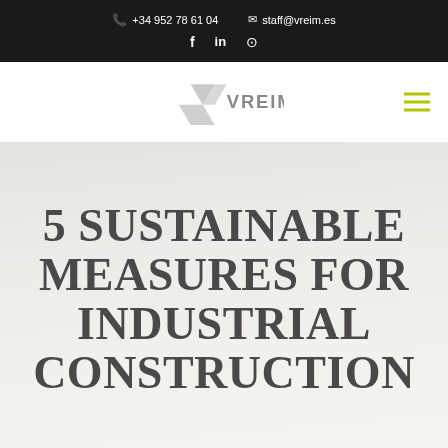+34 952 78 61 04  staff@vreim.es
[Figure (logo): VREIM company logo with stylized S/V chevron mark in gray and text VREIM]
5 SUSTAINABLE MEASURES FOR INDUSTRIAL CONSTRUCTION